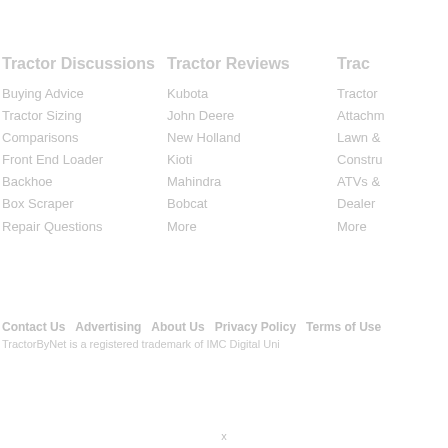Tractor Discussions
Buying Advice
Tractor Sizing
Comparisons
Front End Loader
Backhoe
Box Scraper
Repair Questions
Tractor Reviews
Kubota
John Deere
New Holland
Kioti
Mahindra
Bobcat
More
Trac
Tractor
Attachm
Lawn &
Constru
ATVs &
Dealer
More
Contact Us   Advertising   About Us   Privacy Policy   Terms of Use
TractorByNet is a registered trademark of IMC Digital Uni